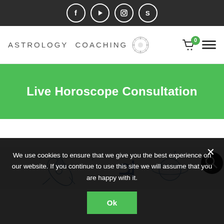[Figure (screenshot): Social media icons bar (Facebook, YouTube, Instagram, Skype) on dark background]
[Figure (logo): Astrology Coaching logo with circular sun/mandala icon]
ASTROLOGY COACHING
Live Horoscope Consultation
[Figure (illustration): Illustrated astrology/space themed banner with rocket and Jupiter symbol]
We use cookies to ensure that we give you the best experience on our website. If you continue to use this site we will assume that you are happy with it.